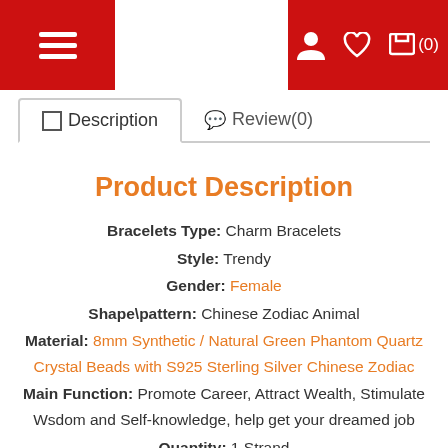Navigation bar with hamburger menu, user icon, heart icon, and cart (0)
Description | Review(0)
Product Description
Bracelets Type: Charm Bracelets
Style: Trendy
Gender: Female
Shape\pattern: Chinese Zodiac Animal
Material: 8mm Synthetic / Natural Green Phantom Quartz Crystal Beads with S925 Sterling Silver Chinese Zodiac
Main Function: Promote Career, Attract Wealth, Stimulate Wsdom and Self-knowledge, help get your dreamed job
Quantity: 1 Strand